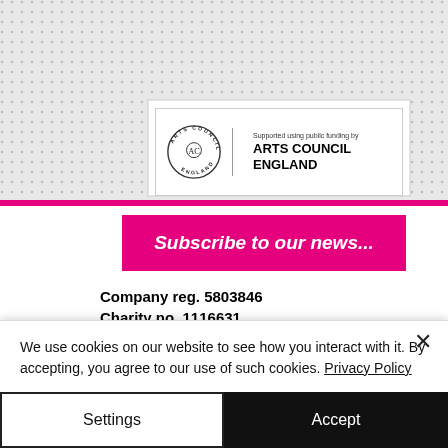[Figure (other): Dot/pattern background texture filling the top portion of the page]
[Figure (logo): Arts Council England logo with circular text emblem and 'Supported using public funding by ARTS COUNCIL ENGLAND' text]
Subscribe to our news...
Company reg. 5803846
Charity no. 1116631
We use cookies on our website to see how you interact with it. By accepting, you agree to our use of such cookies. Privacy Policy
Settings
Accept